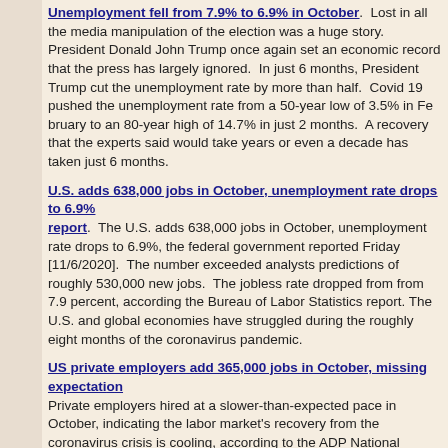Unemployment fell from 7.9% to 6.9% in October. Lost in all the media manipulation of the election was a huge story. President Donald John Trump once again set an economic record that the press has largely ignored. In just 6 months, President Trump cut the unemployment rate by more than half. Covid 19 pushed the unemployment rate from a 50-year low of 3.5% in February to an 80-year high of 14.7% in just 2 months. A recovery that the experts said would take years or even a decade has taken just 6 months.
U.S. adds 638,000 jobs in October, unemployment rate drops to 6.9%, jobs report. The U.S. adds 638,000 jobs in October, unemployment rate drops to 6.9%, the federal government reported Friday [11/6/2020]. The number exceeded analysts predictions of roughly 530,000 new jobs. The jobless rate dropped from from 7.9 percent, according the Bureau of Labor Statistics report. The U.S. and global economies have struggled during the roughly eight months of the coronavirus pandemic.
US private employers add 365,000 jobs in October, missing expectations. Private employers hired at a slower-than-expected pace in October, indicating the labor market's recovery from the coronavirus crisis is cooling, according to the ADP National Employment Report released Wednesday [11/4/2020]. The report showed that companies created 365,000 new jobs last month, sharply missing the 650,000-job increase that economists surveyed by Refinitiv had expected.
U.S. Manufacturing At Highest Level Since 2018. An incredible insight into powerful and strong gains for U.S. manufacturing has been released by The Institute for Supply Management, an association of purchasing managers. As reported by the Associated Press, the managers "said Monday that its manufacturing index rose by 3.9 percentage points to a reading of 59.3% last month, up from 55.4% in September." The report claims October gains a...